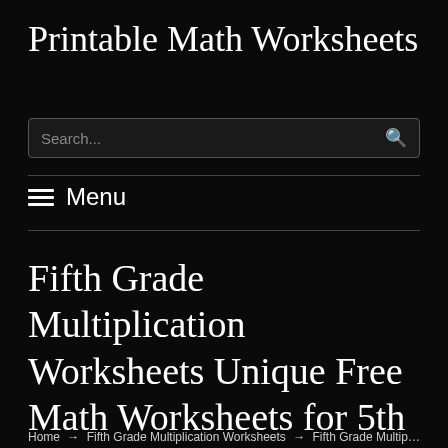Printable Math Worksheets
Search...
≡ Menu
Fifth Grade Multiplication Worksheets Unique Free Math Worksheets for 5th Grade Division
Home → Fifth Grade Multiplication Worksheets → Fifth Grade Multiplication